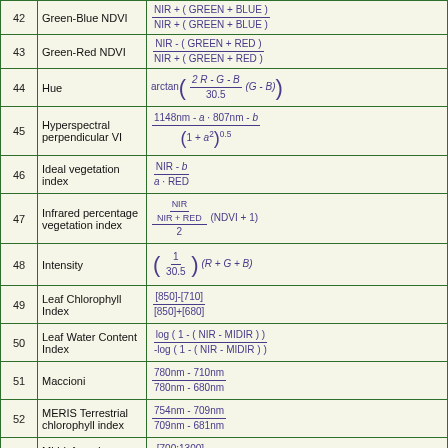| # | Name | Formula |
| --- | --- | --- |
| 42 | Green-Blue NDVI | NIR-(GREEN+BLUE) / NIR+(GREEN+BLUE) |
| 43 | Green-Red NDVI | NIR-(GREEN+RED) / NIR+(GREEN+RED) |
| 44 | Hue | arctan((2R-G-B)/30.5 * (G-B)) |
| 45 | Hyperspectral perpendicular VI | (1148nm - a·807nm - b) / (1+a²)^0.5 |
| 46 | Ideal vegetation index | (NIR-b) / (a·RED) |
| 47 | Infrared percentage vegetation index | (NIR/(NIR+RED)) / 2 * (NDVI+1) |
| 48 | Intensity | (1/30.5)(R+G+B) |
| 49 | Leaf Chlorophyll Index | [850]-[710] / [850]+[680] |
| 50 | Leaf Water Content Index | log(1-(NIR-MIDIR)) / -log(1-(NIR-MIDIR)) |
| 51 | Maccioni | 780nm-710nm / 780nm-680nm |
| 52 | MERIS Terrestrial chlorophyll index | 754nm-709nm / 709nm-681nm |
| 53 | Mid-infrared vegetation index | [700:1300] / [1570:1780] |
| 54 | Modified Chlorophyll Absorption in Reflectance Index | ((700nm-670nm)-0.2(700nm-550nm))(700nm/670nm) |
| 55 | Modified Chlorophyll |  |